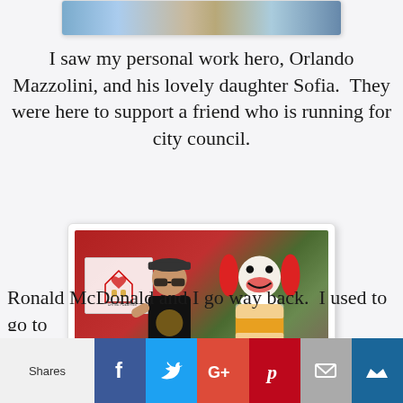[Figure (photo): Partial photo at top of page showing people, cropped]
I saw my personal work hero, Orlando Mazzolini, and his lovely daughter Sofia.  They were here to support a friend who is running for city council.
[Figure (photo): Photo of a man in a black t-shirt posing with Ronald McDonald in front of a red van with Ronald McDonald House Charities logo]
Ronald McDonald and I go to
Shares  [Facebook] [Twitter] [Google+] [Pinterest] [Email] [Bookmark]